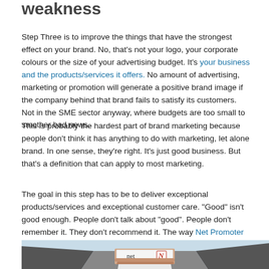weakness
Step Three is to improve the things that have the strongest effect on your brand. No, that’s not your logo, your corporate colours or the size of your advertising budget. It’s your business and the products/services it offers. No amount of advertising, marketing or promotion will generate a positive brand image if the company behind that brand fails to satisfy its customers. Not in the SME sector anyway, where budgets are too small to smother bad news.
This is probably the hardest part of brand marketing because people don’t think it has anything to do with marketing, let alone brand. In one sense, they’re right. It’s just good business. But that’s a definition that can apply to most marketing.
The goal in this step has to be to deliver exceptional products/services and exceptional customer care. “Good” isn’t good enough. People don’t talk about “good”. People don’t remember it. They don’t recommend it. The way Net Promoter Score judges satisfaction is right on the money: in its scores from 1 to 10, only 9 and 10 are considered to be Promoters. Everything else is blah (at best).
[Figure (photo): A business person in a suit holding a business card with 'net' text and a Nielsen 'N' logo visible on the card.]